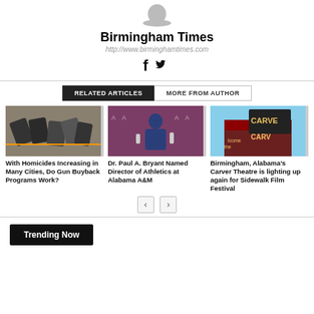[Figure (illustration): User avatar placeholder icon (gray silhouette)]
Birmingham Times
http://www.birminghamtimes.com
[Figure (illustration): Facebook and Twitter social media icons]
RELATED ARTICLES | MORE FROM AUTHOR
[Figure (photo): Photo of multiple handguns for gun buyback article]
With Homicides Increasing in Many Cities, Do Gun Buyback Programs Work?
[Figure (photo): Photo of Dr. Paul A. Bryant at Alabama A&M Athletics press event]
Dr. Paul A. Bryant Named Director of Athletics at Alabama A&M
[Figure (photo): Photo of Carver Theatre signage in Birmingham Alabama]
Birmingham, Alabama’s Carver Theatre is lighting up again for Sidewalk Film Festival
Trending Now